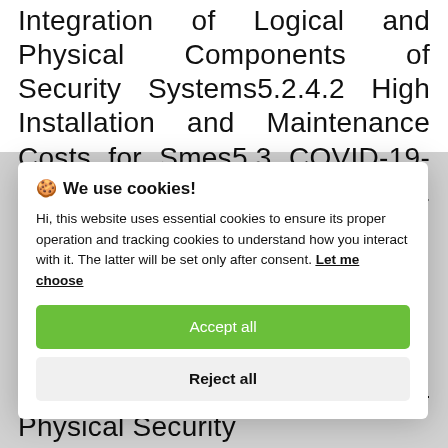Integration of Logical and Physical Components of Security Systems5.2.4.2 High Installation and Maintenance Costs for Smes5.3 COVID-19-Driven Market Dynamics5.3.1 Cumulative Growth
🍪 We use cookies!

Hi, this website uses essential cookies to ensure its proper operation and tracking cookies to understand how you interact with it. The latter will be set only after consent. Let me choose

[Accept all] [Reject all]
and Smart Devices5.8.4 Physical Security